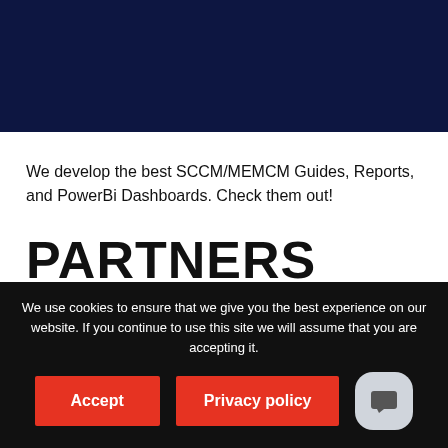[Figure (other): Dark navy blue banner/header image placeholder at the top of the page]
We develop the best SCCM/MEMCM Guides, Reports, and PowerBi Dashboards. Check them out!
PARTNERS
We use cookies to ensure that we give you the best experience on our website. If you continue to use this site we will assume that you are accepting it.